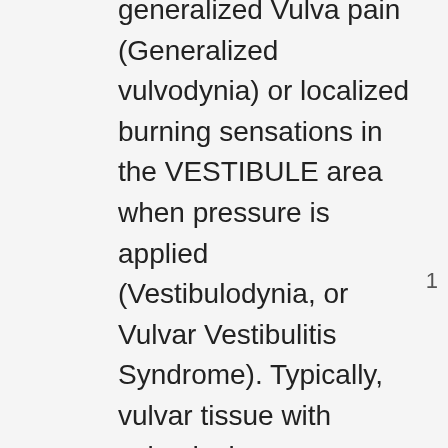generalized Vulva pain (Generalized vulvodynia) or localized burning sensations in the VESTIBULE area when pressure is applied (Vestibulodynia, or Vulvar Vestibulitis Syndrome). Typically, vulvar tissue with vulvodynia appears normal without infection or skin disease. Vulvodynia impacts negatively on a woman's quality of life as it interferes with sexual and daily
1